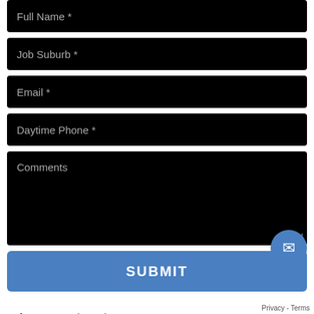Full Name *
Job Suburb *
Email *
Daytime Phone *
Comments
SUBMIT
Industry: Landscaping
Product: Sir Walter Buffalo Lawn Turf
Suburb: Andover TAS 7120